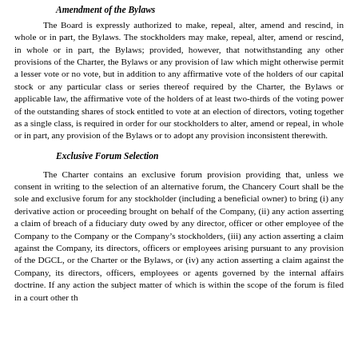Amendment of the Bylaws
The Board is expressly authorized to make, repeal, alter, amend and rescind, in whole or in part, the Bylaws. The stockholders may make, repeal, alter, amend or rescind, in whole or in part, the Bylaws; provided, however, that notwithstanding any other provisions of the Charter, the Bylaws or any provision of law which might otherwise permit a lesser vote or no vote, but in addition to any affirmative vote of the holders of our capital stock or any particular class or series thereof required by the Charter, the Bylaws or applicable law, the affirmative vote of the holders of at least two-thirds of the voting power of the outstanding shares of stock entitled to vote at an election of directors, voting together as a single class, is required in order for our stockholders to alter, amend or repeal, in whole or in part, any provision of the Bylaws or to adopt any provision inconsistent therewith.
Exclusive Forum Selection
The Charter contains an exclusive forum provision providing that, unless we consent in writing to the selection of an alternative forum, the Chancery Court shall be the sole and exclusive forum for any stockholder (including a beneficial owner) to bring (i) any derivative action or proceeding brought on behalf of the Company, (ii) any action asserting a claim of breach of a fiduciary duty owed by any director, officer or other employee of the Company to the Company or the Company’s stockholders, (iii) any action asserting a claim against the Company, its directors, officers or employees arising pursuant to any provision of the DGCL, or the Charter or the Bylaws, or (iv) any action asserting a claim against the Company, its directors, officers, employees or agents governed by the internal affairs doctrine. If any action the subject matter of which is within the scope of the forum is filed in a court other th